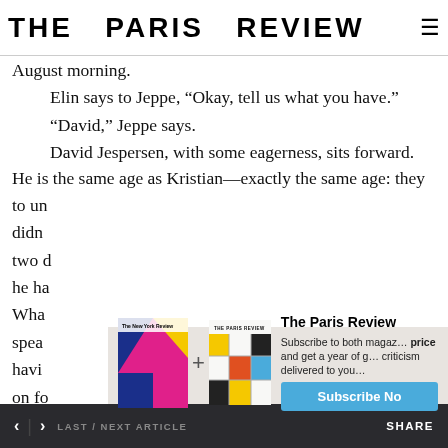THE PARIS REVIEW
August morning.
    Elin says to Jeppe, “Okay, tell us what you have.”
    “David,” Jeppe says.
    David Jespersen, with some eagerness, sits forward. He is the same age as Kristian—exactly the same age: they
to un
didnt
two d
he ha
Wha
spea
havi
on fo
time now actually. The woman’s called Natasha Ohmsen.
[Figure (screenshot): Subscription advertisement showing The New York Review of Books + The Paris Review magazine covers with a 'Subscribe Now' button on blue background, over a beige overlay panel titled 'The Paris Review'. Text: 'Subscribe to both magaz... price and get a year of g... criticism delivered to you...']
< | > LAST / NEXT ARTICLE    SHARE